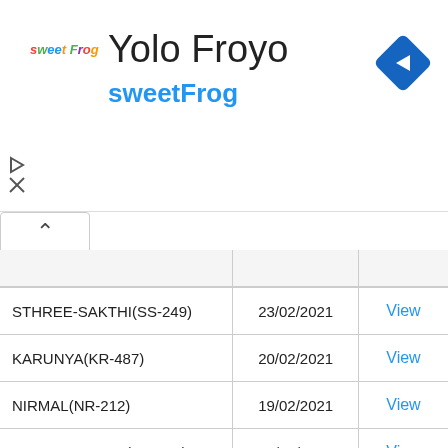Yolo Froyo - sweetFrog
|  |  |  |
| --- | --- | --- |
| STHREE-SAKTHI(SS-249) | 23/02/2021 | View |
| KARUNYA(KR-487) | 20/02/2021 | View |
| NIRMAL(NR-212) | 19/02/2021 | View |
| KARUNYA PLUS(KN-356) | 18/02/2021 | View |
| AKSHAYA(AK-485) | 17/02/2021 | View |
| WIN-WIN(W-603) | 15/02/2021 | View |